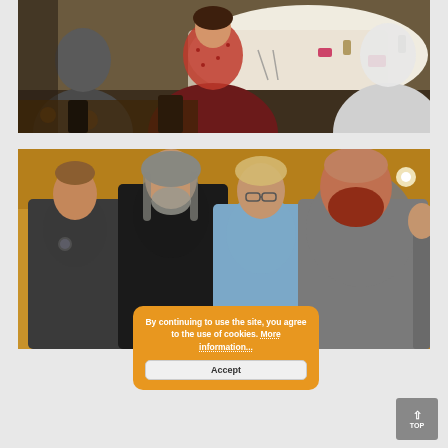[Figure (photo): Group of people seated around a white-tablecloth dining table at a banquet or event. A woman in a dark red patterned blouse is prominent in the center, with other attendees visible around the table.]
[Figure (photo): Four people standing together posing for a photo in a large banquet hall with warm golden lighting. From left: a man in a dark polo shirt, a tall man with long gray hair and beard in a black jacket, a woman with glasses in a light blue shirt, and a large man with a red beard in a gray shirt. Many tables with attendees visible in the background.]
By continuing to use the site, you agree to the use of cookies. More information...
Accept